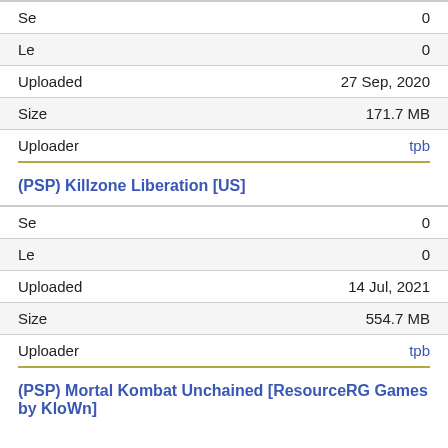| Field | Value |
| --- | --- |
| Se | 0 |
| Le | 0 |
| Uploaded | 27 Sep, 2020 |
| Size | 171.7 MB |
| Uploader | tpb |
(PSP) Killzone Liberation [US]
| Field | Value |
| --- | --- |
| Se | 0 |
| Le | 0 |
| Uploaded | 14 Jul, 2021 |
| Size | 554.7 MB |
| Uploader | tpb |
(PSP) Mortal Kombat Unchained [ResourceRG Games by KloWn]